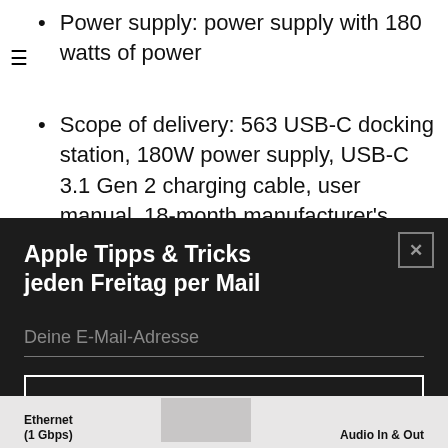Power supply: power supply with 180 watts of power
Scope of delivery: 563 USB-C docking station, 180W power supply, USB-C 3.1 Gen 2 charging cable, user manual, 18-month manufacturer's guarantee
[Figure (screenshot): Dark modal popup overlay with title 'Apple Tipps & Tricks jeden Freitag per Mail', an email input field with placeholder 'Deine E-Mail-Adresse', a 'Los!' submit button, and a close button (X) in the top right corner.]
[Figure (screenshot): Bottom strip showing partial product image with labels 'Ethernet (1 Gbps)' and 'Audio In & Out']